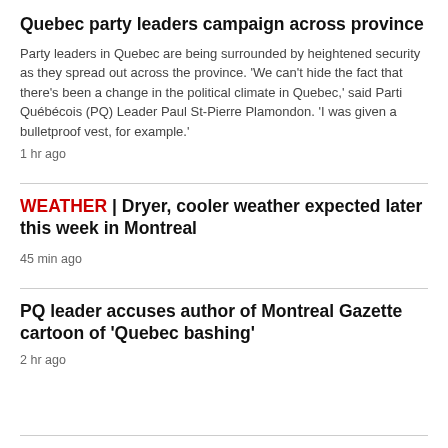Quebec party leaders campaign across province
Party leaders in Quebec are being surrounded by heightened security as they spread out across the province. 'We can't hide the fact that there's been a change in the political climate in Quebec,' said Parti Québécois (PQ) Leader Paul St-Pierre Plamondon. 'I was given a bulletproof vest, for example.'
1 hr ago
WEATHER | Dryer, cooler weather expected later this week in Montreal
45 min ago
PQ leader accuses author of Montreal Gazette cartoon of 'Quebec bashing'
2 hr ago